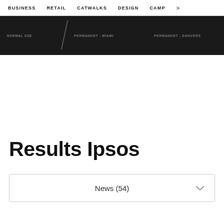BUSINESS  RETAIL  CATWALKS  DESIGN  CAMP >
[Figure (screenshot): Dark navigation banner with text labels: PERMANENT - MIAMI and PERMANENT - DANVERS, with a diagonal slash separator on dark background]
Results Ipsos
News (54)